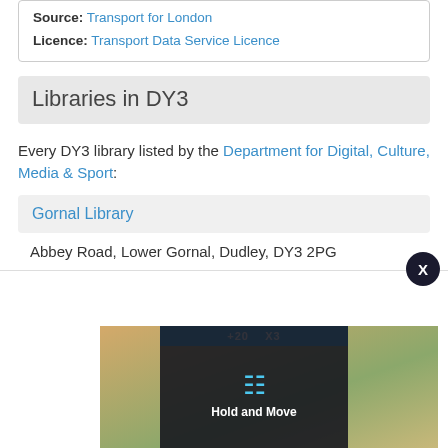Source: Transport for London
Licence: Transport Data Service Licence
Libraries in DY3
Every DY3 library listed by the Department for Digital, Culture, Media & Sport:
Gornal Library
Abbey Road, Lower Gornal, Dudley, DY3 2PG
[Figure (photo): Advertisement banner showing a mobile app interface with trees in background and 'Hold and Move' text overlay]